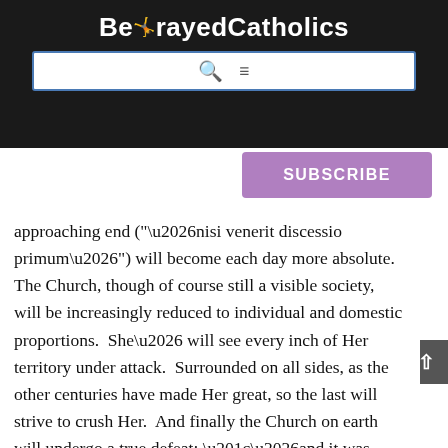BetrayedCatholics
approaching end (“…nisi venerit discessio primum…”) will become each day more absolute. The Church, though of course still a visible society, will be increasingly reduced to individual and domestic proportions.  She… will see every inch of Her territory under attack.  Surrounded on all sides, as the other centuries have made Her great, so the last will strive to crush Her.  And finally the Church on earth will undergo a true defeat: “…and it was given unto him to make war with the saints and to overcome them.” (Apocalypse 13:7) The insolence of evil will be at its peak.” In another work, he is quoted as saying the Church then will consist of Catholics scattered here